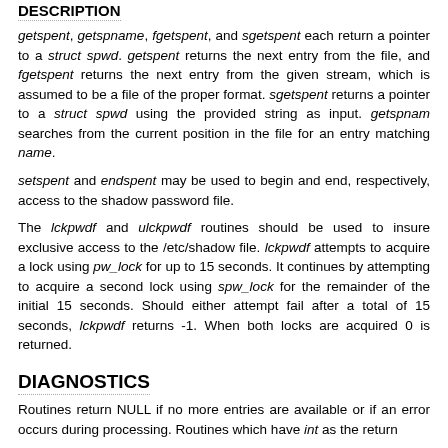DESCRIPTION
getspent, getspname, fgetspent, and sgetspent each return a pointer to a struct spwd. getspent returns the next entry from the file, and fgetspent returns the next entry from the given stream, which is assumed to be a file of the proper format. sgetspent returns a pointer to a struct spwd using the provided string as input. getspnam searches from the current position in the file for an entry matching name.
setspent and endspent may be used to begin and end, respectively, access to the shadow password file.
The lckpwdf and ulckpwdf routines should be used to insure exclusive access to the /etc/shadow file. lckpwdf attempts to acquire a lock using pw_lock for up to 15 seconds. It continues by attempting to acquire a second lock using spw_lock for the remainder of the initial 15 seconds. Should either attempt fail after a total of 15 seconds, lckpwdf returns -1. When both locks are acquired 0 is returned.
DIAGNOSTICS
Routines return NULL if no more entries are available or if an error occurs during processing. Routines which have int as the return